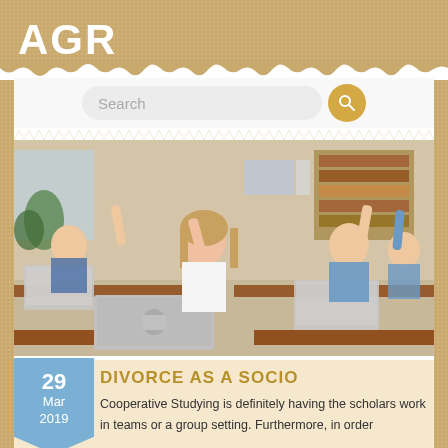AGR
[Figure (screenshot): Search bar with magnifying glass button on a light gray background]
[Figure (photo): Classroom photo showing children sitting at desks with laptops, raising their hands. A girl in the foreground has a MacBook laptop.]
29 Mar 2019
DIVORCE AS A SOCIO
Cooperative Studying is definitely having the scholars work in teams or a group setting. Furthermore, in order